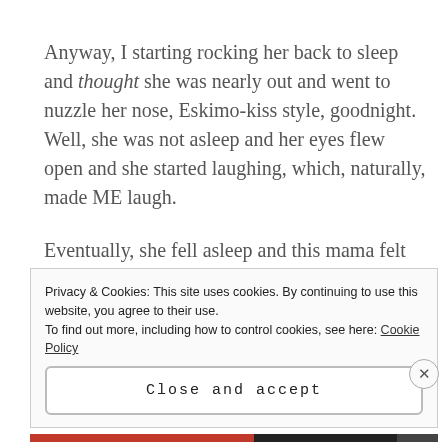Anyway, I starting rocking her back to sleep and thought she was nearly out and went to nuzzle her nose, Eskimo-kiss style, goodnight. Well, she was not asleep and her eyes flew open and she started laughing, which, naturally, made ME laugh.
Eventually, she fell asleep and this mama felt like all was right in the world.
Privacy & Cookies: This site uses cookies. By continuing to use this website, you agree to their use.
To find out more, including how to control cookies, see here: Cookie Policy
Close and accept